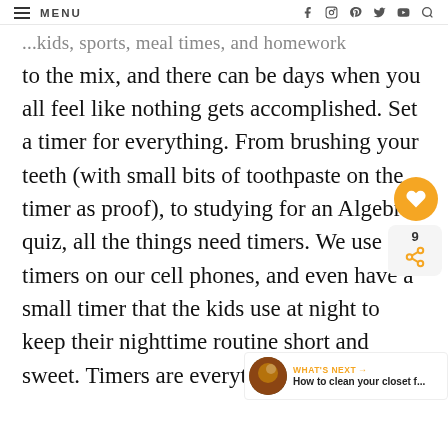MENU | social icons: facebook, instagram, pinterest, twitter, youtube, search
...kids, sports, meal times, and homework to the mix, and there can be days when you all feel like nothing gets accomplished. Set a timer for everything. From brushing your teeth (with small bits of toothpaste on the timer as proof), to studying for an Algebra quiz, all the things need timers. We use timers on our cell phones, and even have a small timer that the kids use at night to keep their nighttime routine short and sweet. Timers are everything.